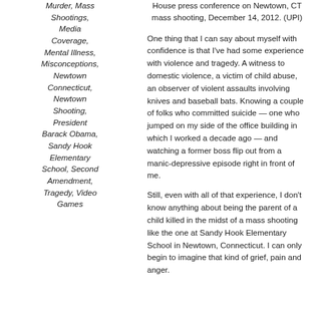Murder, Mass Shootings, Media Coverage, Mental Illness, Misconceptions, Newtown Connecticut, Newtown Shooting, President Barack Obama, Sandy Hook Elementary School, Second Amendment, Tragedy, Video Games
House press conference on Newtown, CT mass shooting, December 14, 2012. (UPI)
One thing that I can say about myself with confidence is that I've had some experience with violence and tragedy. A witness to domestic violence, a victim of child abuse, an observer of violent assaults involving knives and baseball bats. Knowing a couple of folks who committed suicide — one who jumped on my side of the office building in which I worked a decade ago — and watching a former boss flip out from a manic-depressive episode right in front of me.
Still, even with all of that experience, I don't know anything about being the parent of a child killed in the midst of a mass shooting like the one at Sandy Hook Elementary School in Newtown, Connecticut. I can only begin to imagine that kind of grief, pain and anger.